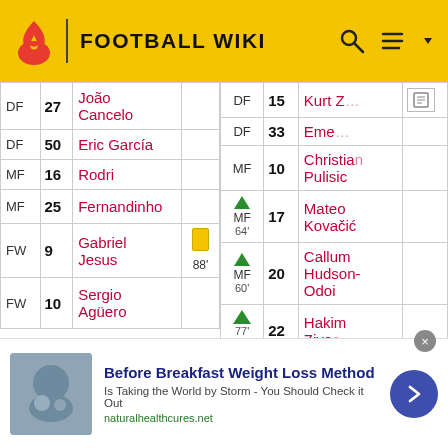FOOTBALL WIKI
| Pos | # | Player | Event |
| --- | --- | --- | --- |
| DF | 27 | João Cancelo |  |
| DF | 50 | Eric García |  |
| MF | 16 | Rodri |  |
| MF | 25 | Fernandinho |  |
| FW | 9 | Gabriel Jesus | 🟨 88' |
| FW | 10 | Sergio Agüero |  |
| Event | # | Player |
| --- | --- | --- |
| DF | 15 | Kurt Z... |
| DF | 33 | Eme... |
| MF | 10 | Christian Pulisic |
| ▲MF 64' | 17 | Mateo Kovačić |
| ▲MF 60' | 20 | Callum Hudson-Odoi |
| ▲ 77' MF | 22 | Hakim Ziyec... |
Before Breakfast Weight Loss Method - Is Taking the World by Storm - You Should Check it Out - naturalhealthcures.net